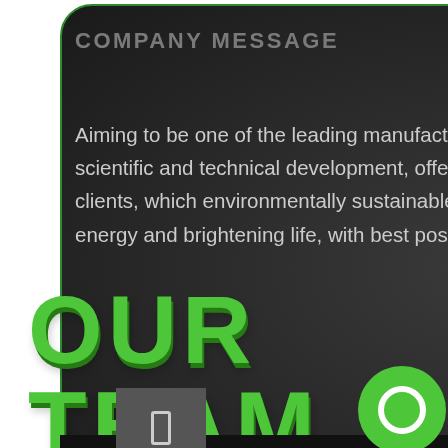COMPANY MESSAGE
Aiming to be one of the leading manufacturers of Glow p products by continuing the scientific and technical development, offering a variety of customized products to our clients, which environmentally sustainable, benefiting from self-luminous paint to save the energy and brightening life, with best possible value for money.
OUR TEAM